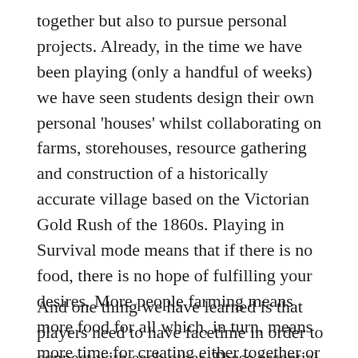together but also to pursue personal projects. Already, in the time we have been playing (only a handful of weeks) we have seen students design their own personal 'houses' whilst collaborating on farms, storehouses, resource gathering and construction of a historically accurate village based on the Victorian Gold Rush of the 1860s. Playing in Survival mode means that if there is no food, there is no hope of fulfilling your desires. More people farming means more food for all which, in turn, means more time for creating either together or alone. They are still learning that kind words while playing encourage others to come to your aid when in need.
And one thing we have learned is that players need to have facetime in order to connect with each other. These essential meetings to check in on the day begin with